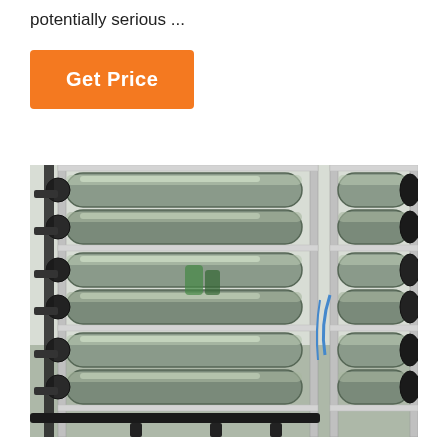potentially serious ...
Get Price
[Figure (photo): Industrial reverse osmosis water filtration system with multiple stainless steel cylindrical membrane vessels mounted on a metal frame, with black PVC pipes and connectors visible on both sides]